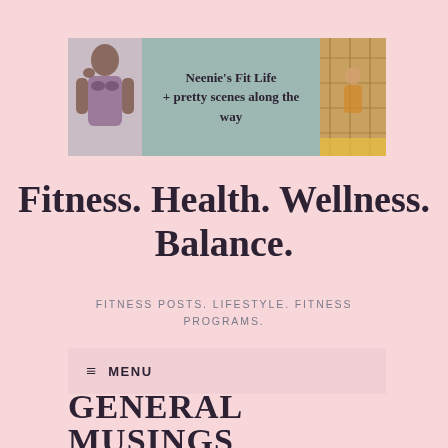[Figure (photo): Banner/header image for Neenie's Fit Life blog. Light teal/sage green background with a photo of a woman in a bikini on the left, centered text reading "Neenie's Fit Life + pretty scenes along the way", and a decorative photo on the right.]
Fitness. Health. Wellness. Balance.
FITNESS POSTS. LIFESTYLE. FITNESS PROGRAMS.
≡  MENU
GENERAL MUSINGS